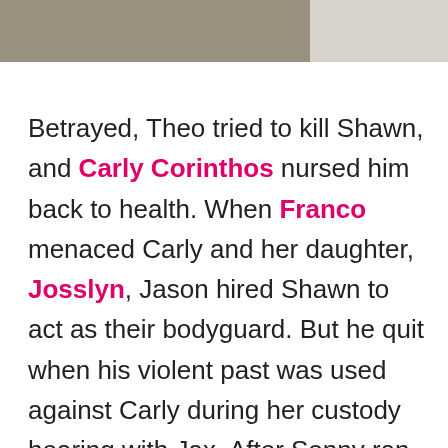[Figure (photo): Partial photo strip at top of page showing a textured outdoor or ground scene on the left side and a lighter grey area on the right.]
Betrayed, Theo tried to kill Shawn, and Carly Corinthos nursed him back to health. When Franco menaced Carly and her daughter, Josslyn, Jason hired Shawn to act as their bodyguard. But he quit when his violent past was used against Carly during her custody hearing with Jax. After Sonny ran Jax out of town, Shawn worried he might return, and kept an eye on Carly and Joss. So when Jax tried to